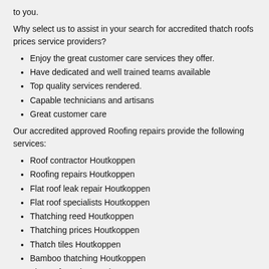to you.
Why select us to assist in your search for accredited thatch roofs prices service providers?
Enjoy the great customer care services they offer.
Have dedicated and well trained teams available
Top quality services rendered.
Capable technicians and artisans
Great customer care
Our accredited approved Roofing repairs provide the following services:
Roof contractor Houtkoppen
Roofing repairs Houtkoppen
Flat roof leak repair Houtkoppen
Flat roof specialists Houtkoppen
Thatching reed Houtkoppen
Thatching prices Houtkoppen
Thatch tiles Houtkoppen
Bamboo thatching Houtkoppen
Flat roof repairs Houtkoppen
Slate roof repairs Houtkoppen
Roof restorations Houtkoppen
Thatched lapa prices Houtkoppen
Thatch roofs prices Houtkoppen
Thatched garden gazebos Houtkoppen
Roof repair Houtkoppen